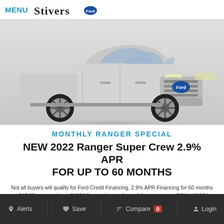MENU | Stivers Ford
[Figure (photo): Front-angled view of a silver 2022 Ford Ranger Super Crew pickup truck on a white/gray background.]
MONTHLY RANGER SPECIAL
NEW 2022 Ranger Super Crew 2.9% APR FOR UP TO 60 MONTHS
Not all buyers will qualify for Ford Credit Financing. 2.9% APR Financing for 60 months at $17.92 per month per $1000 financed regardless of down payment (PGM #21334). Residency restrictions apply. Must take new retail delivery from dealers stock by 8/31/22. See dealer for qualifications and complete details.
Alerts  Save  Compare 0  Login